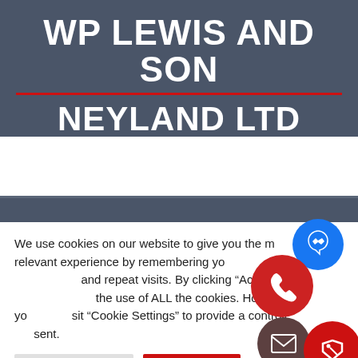WP LEWIS AND SON
NEYLAND LTD
Home
Our Vehicles
Compare Listing
Calculator
About
Contact
We use cookies on our website to give you the most relevant experience by remembering your preferences and repeat visits. By clicking "Accept All", you consent to the use of ALL the cookies. However, you may visit "Cookie Settings" to provide a controlled consent.
[Figure (infographic): Four floating action buttons: blue messenger icon, red phone icon, dark brown email icon, red tag/price icon]
Cookie Settings
Accept All